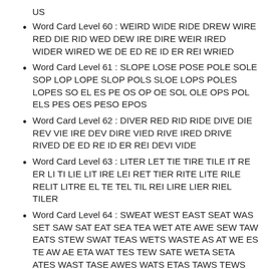US
Word Card Level 60 : WEIRD WIDE RIDE DREW WIRE RED DIE RID WED DEW IRE DIRE WEIR IRED WIDER WIRED WE DE ED RE ID ER REI WRIED
Word Card Level 61 : SLOPE LOSE POSE POLE SOLE SOP LOP LOPE SLOP POLS SLOE LOPS POLES LOPES SO EL ES PE OS OP OE SOL OLE OPS POL ELS PES OES PESO EPOS
Word Card Level 62 : DIVER RED RID RIDE DIVE DIE REV VIE IRE DEV DIRE VIED RIVE IRED DRIVE RIVED DE ED RE ID ER REI DEVI VIDE
Word Card Level 63 : LITER LET TIE TIRE TILE IT RE ER LI TI LIE LIT IRE LEI RET TIER RITE LITE RILE RELIT LITRE EL TE TEL TIL REI LIRE LIER RIEL TILER
Word Card Level 64 : SWEAT WEST EAST SEAT WAS SET SAW SAT EAT SEA TEA WET ATE AWE SEW TAW EATS STEW SWAT TEAS WETS WASTE AS AT WE ES TE AW AE ETA WAT TES TEW SATE WETA SETA ATES WAST TASE AWES WATS ETAS TAWS TEWS TAWSE